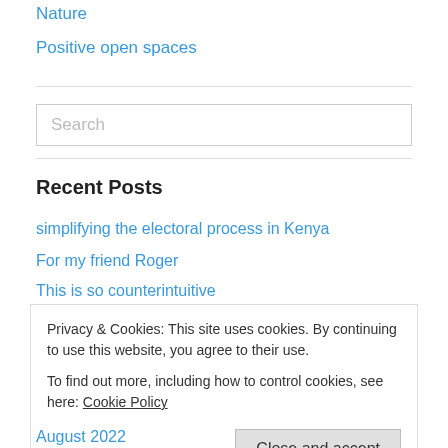Nature
Positive open spaces
Search
Recent Posts
simplifying the electoral process in Kenya
For my friend Roger
This is so counterintuitive
Privacy & Cookies: This site uses cookies. By continuing to use this website, you agree to their use. To find out more, including how to control cookies, see here: Cookie Policy
Close and accept
August 2022